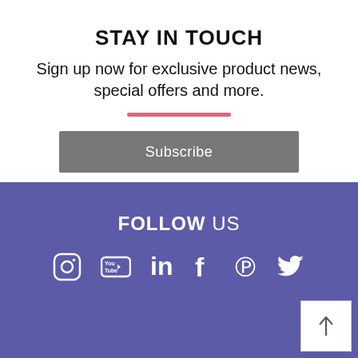STAY IN TOUCH
Sign up now for exclusive product news, special offers and more.
[Figure (other): Pink horizontal decorative line separator]
Subscribe
FOLLOW US
[Figure (other): Row of social media icons: Instagram, YouTube, LinkedIn, Facebook, Pinterest, Twitter]